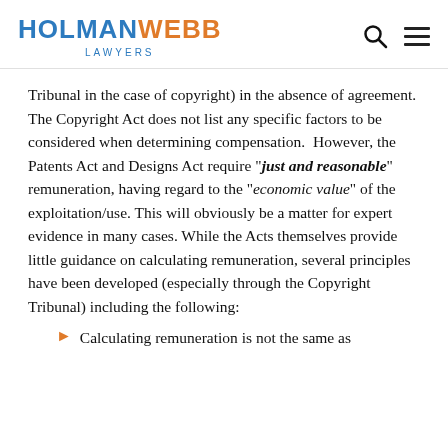HOLMANWEBB LAWYERS
Tribunal in the case of copyright) in the absence of agreement.
The Copyright Act does not list any specific factors to be considered when determining compensation.  However, the Patents Act and Designs Act require "just and reasonable" remuneration, having regard to the "economic value" of the exploitation/use. This will obviously be a matter for expert evidence in many cases. While the Acts themselves provide little guidance on calculating remuneration, several principles have been developed (especially through the Copyright Tribunal) including the following:
Calculating remuneration is not the same as